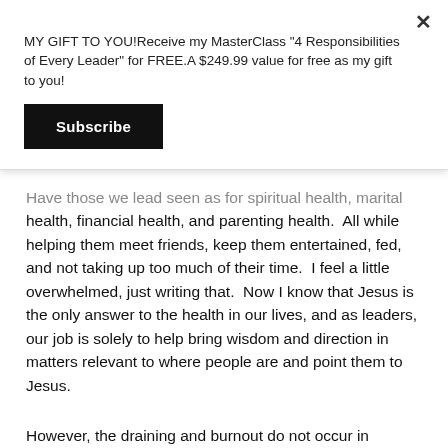MY GIFT TO YOU!Receive my MasterClass "4 Responsibilities of Every Leader" for FREE.A $249.99 value for free as my gift to you!
Subscribe
Have those we lead seen as for spiritual health, marital health, financial health, and parenting health.  All while helping them meet friends, keep them entertained, fed, and not taking up too much of their time.  I feel a little overwhelmed, just writing that.  Now I know that Jesus is the only answer to the health in our lives, and as leaders, our job is solely to help bring wisdom and direction in matters relevant to where people are and point them to Jesus.
However, the draining and burnout do not occur in